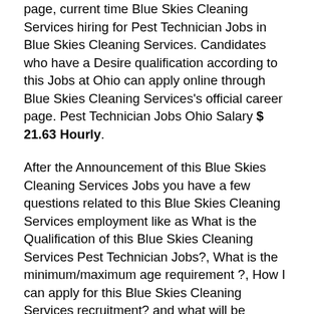page, current time Blue Skies Cleaning Services hiring for Pest Technician Jobs in Blue Skies Cleaning Services. Candidates who have a Desire qualification according to this Jobs at Ohio can apply online through Blue Skies Cleaning Services's official career page. Pest Technician Jobs Ohio Salary $ 21.63 Hourly.
After the Announcement of this Blue Skies Cleaning Services Jobs you have a few questions related to this Blue Skies Cleaning Services employment like as What is the Qualification of this Blue Skies Cleaning Services Pest Technician Jobs?, What is the minimum/maximum age requirement ?, How I can apply for this Blue Skies Cleaning Services recruitment? and what will be